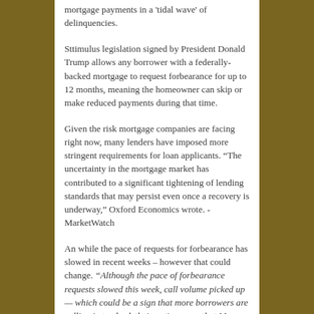mortgage payments in a 'tidal wave' of delinquencies.
Sttimulus legislation signed by President Donald Trump allows any borrower with a federally-backed mortgage to request forbearance for up to 12 months, meaning the homeowner can skip or make reduced payments during that time.
Given the risk mortgage companies are facing right now, many lenders have imposed more stringent requirements for loan applicants. “The uncertainty in the mortgage market has contributed to a significant tightening of lending standards that may persist even once a recovery is underway,” Oxford Economics wrote. -MarketWatch
An while the pace of requests for forbearance has slowed in recent weeks – however that could change. “Although the pace of forbearance requests slowed this week, call volume picked up — which could be a sign that more borrowers are calling in to check their options now that May due dates have